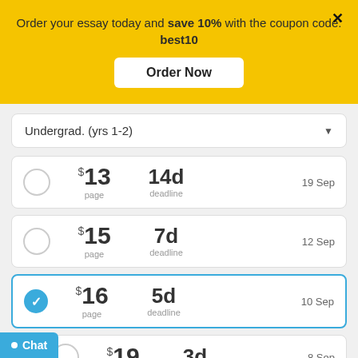Order your essay today and save 10% with the coupon code: best10
Order Now
Undergrad. (yrs 1-2)
$13 / page | 14d deadline | 19 Sep
$15 / page | 7d deadline | 12 Sep
$16 / page | 5d deadline | 10 Sep (selected)
$19 / page | 3d deadline | 8 Sep